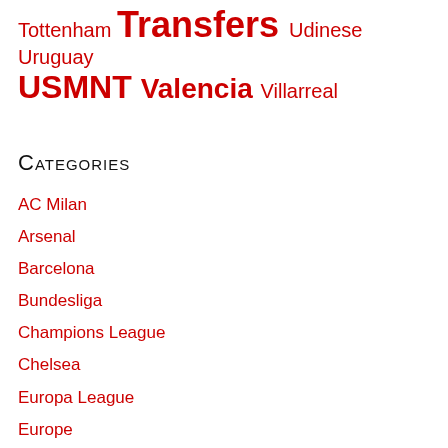Tottenham Transfers Udinese Uruguay USMNT Valencia Villarreal
Categories
AC Milan
Arsenal
Barcelona
Bundesliga
Champions League
Chelsea
Europa League
Europe
FA Cup
Inter Milan